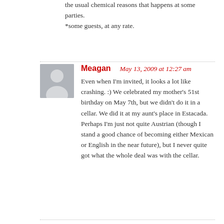the usual chemical reasons that happens at some parties.
*some guests, at any rate.
Meagan
May 13, 2009 at 12:27 am
Even when I'm invited, it looks a lot like crashing. :) We celebrated my mother's 51st birthday on May 7th, but we didn't do it in a cellar. We did it at my aunt's place in Estacada. Perhaps I'm just not quite Austrian (though I stand a good chance of becoming either Mexican or English in the near future), but I never quite got what the whole deal was with the cellar.